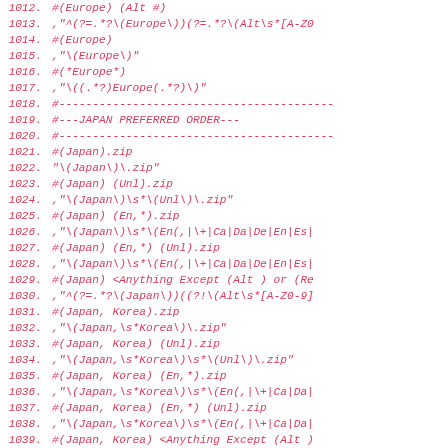1012. #(Europe) (Alt #)
1013. ,"^(?=.*?\(Europe\))(?=.*?\(Alt\s*[A-Z0
1014. #(Europe)
1015. ,"\(Europe\)"
1016. #(*Europe*)
1017. ,"\((.*?)Europe(.*?)\)"
1018. #-----------------------------------------
1019. #---JAPAN PREFERRED ORDER---
1020. #-----------------------------------------
1021. #(Japan).zip
1022. "\(Japan\)\.zip"
1023. #(Japan) (Unl).zip
1024. ,"\(Japan\)\s*\(Unl\)\.zip"
1025. #(Japan) (En,*).zip
1026. ,"\(Japan\)\s*\(En(,|\+|Ca|Da|De|En|Es|
1027. #(Japan) (En,*) (Unl).zip
1028. ,"\(Japan\)\s*\(En(,|\+|Ca|Da|De|En|Es|
1029. #(Japan) <Anything Except (Alt ) or (Re
1030. ,"^(?=.*?\(Japan\))((?!\(Alt\s*[A-Z0-9]
1031. #(Japan, Korea).zip
1032. ,"\(Japan,\s*Korea\)\.zip"
1033. #(Japan, Korea) (Unl).zip
1034. ,"\(Japan,\s*Korea\)\s*\(Unl\)\.zip"
1035. #(Japan, Korea) (En,*).zip
1036. ,"\(Japan,\s*Korea\)\s*\(En(,|\+|Ca|Da|
1037. #(Japan, Korea) (En,*) (Unl).zip
1038. ,"\(Japan,\s*Korea\)\s*\(En(,|\+|Ca|Da|
1039. #(Japan, Korea) <Anything Except (Alt )